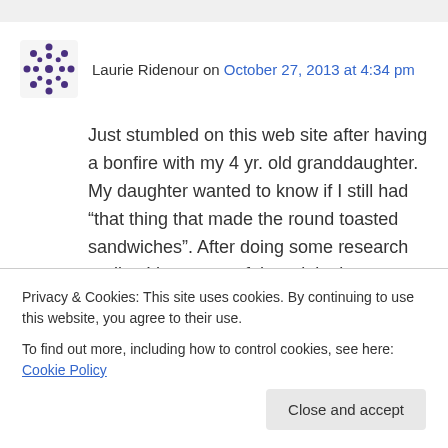Laurie Ridenour on October 27, 2013 at 4:34 pm
Just stumbled on this web site after having a bonfire with my 4 yr. old granddaughter. My daughter wanted to know if I still had “that thing that made the round toasted sandwiches”. After doing some research realize I have one of the original ones. Red handle and Pat. pending. I’m 67 and knew it was old because I used to use it
Privacy & Cookies: This site uses cookies. By continuing to use this website, you agree to their use.
To find out more, including how to control cookies, see here: Cookie Policy